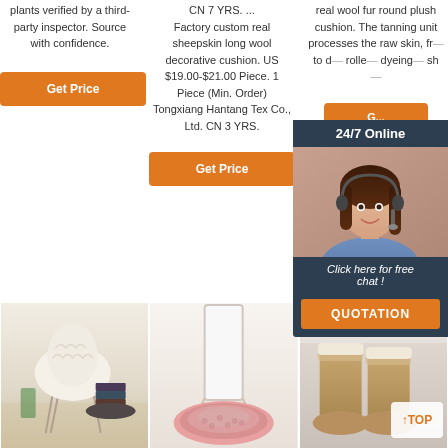plants verified by a third-party inspector. Source with confidence.
Get Price
CN 7 YRS. ... Factory custom real sheepskin long wool decorative cushion. US $19.00-$21.00 Piece. 1 Piece (Min. Order) Tongxiang Hantang Tex Co., Ltd. CN 3 YRS.
Get Price
real wool fur round plush cushion. The tanning unit processes the raw skin, fr... to d... rolle... dyeing... sh...
G... (Get Price)
24/7 Online
[Figure (photo): Customer service agent with headset smiling]
Click here for free chat !
QUOTATION
[Figure (photo): White fluffy fur chair cover on chair]
[Figure (photo): Pink fluffy round rug on floor]
[Figure (photo): Pair of tan sheepskin boots on bed with TOP badge]